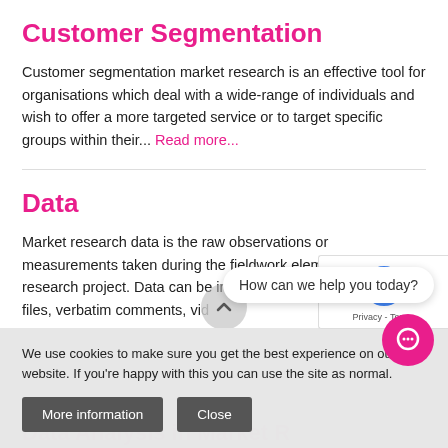Customer Segmentation
Customer segmentation market research is an effective tool for organisations which deal with a wide-range of individuals and wish to offer a more targeted service or to target specific groups within their... Read more...
Data
Market research data is the raw observations or measurements taken during the fieldwork element of a research project. Data can be in the form of numbers, audio files, verbatim comments, vi...
We use cookies to make sure you get the best experience on our website. If you're happy with this you can use the site as normal.
How can we help you today?
Data Analysis in Market Research